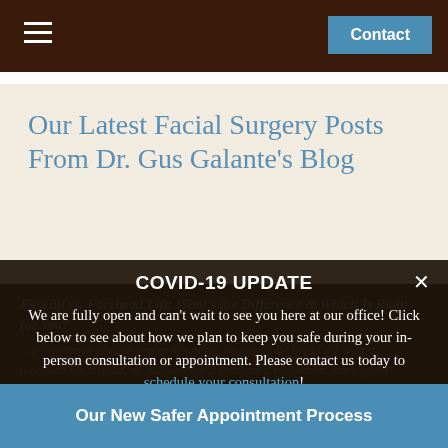Contact
Our Latest Facial Surgery Posts From Dr. Gus Galante's Blog
COVID-19 UPDATE
We are fully open and can't wait to see you here at our office! Click below to see about how we plan to keep you safe during your in-person consultation or appointment. Please contact us today to schedule your consultation!
Our New Safer Appointment Process